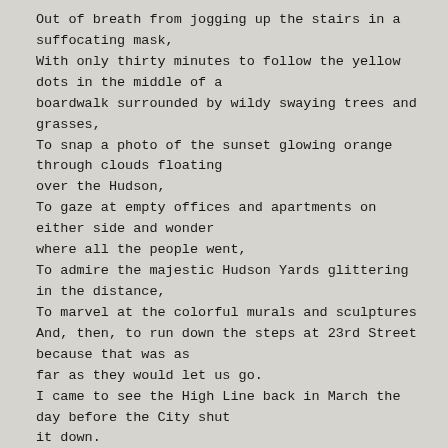Out of breath from jogging up the stairs in a suffocating mask,
With only thirty minutes to follow the yellow dots in the middle of a boardwalk surrounded by wildy swaying trees and grasses,
To snap a photo of the sunset glowing orange through clouds floating over the Hudson,
To gaze at empty offices and apartments on either side and wonder where all the people went,
To admire the majestic Hudson Yards glittering in the distance,
To marvel at the colorful murals and sculptures
And, then, to run down the steps at 23rd Street because that was as far as they would let us go.
I came to see the High Line back in March the day before the City shut it down.
I felt as if the walls of death were closing in upon me and I had to go and see it one last time.
Last night, I came back with a new perspective --
To gorge on life and beauty in all its riotous laughter
And to truly see the High Line for the very first time.
Rosalind Resnick
July 19, 2020